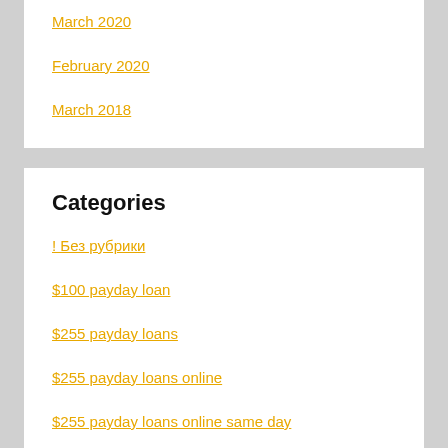March 2020
February 2020
March 2018
Categories
! Без рубрики
$100 payday loan
$255 payday loans
$255 payday loans online
$255 payday loans online same day
1 hour online payday loan